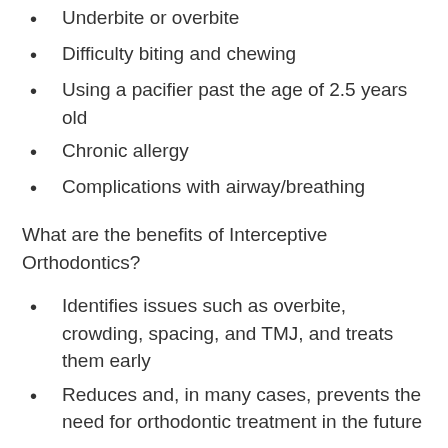Underbite or overbite
Difficulty biting and chewing
Using a pacifier past the age of 2.5 years old
Chronic allergy
Complications with airway/breathing
What are the benefits of Interceptive Orthodontics?
Identifies issues such as overbite, crowding, spacing, and TMJ, and treats them early
Reduces and, in many cases, prevents the need for orthodontic treatment in the future
Corrects dental issues and improves the overall quality of health